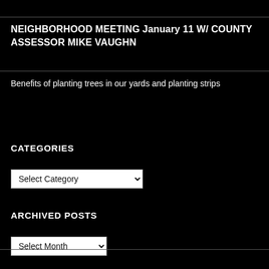NEIGHBORHOOD MEETING January 11 W/ COUNTY ASSESSOR MIKE VAUGHN
Benefits of planting trees in our yards and planting strips
CATEGORIES
ARCHIVED POSTS